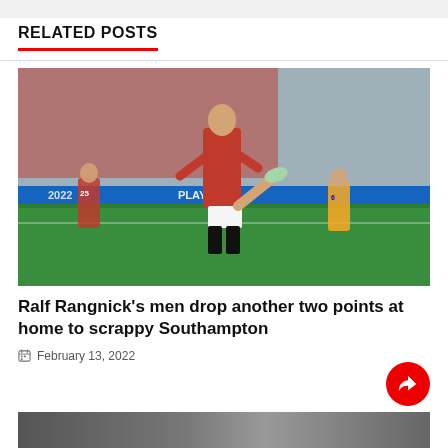RELATED POSTS
[Figure (photo): A Manchester United player in red kit performing a high kick during a Premier League match against Southampton at Old Trafford, with a crowd of supporters in the background.]
Ralf Rangnick's men drop another two points at home to scrappy Southampton
February 13, 2022
[Figure (photo): Partial view of another related article photo at the bottom of the page.]